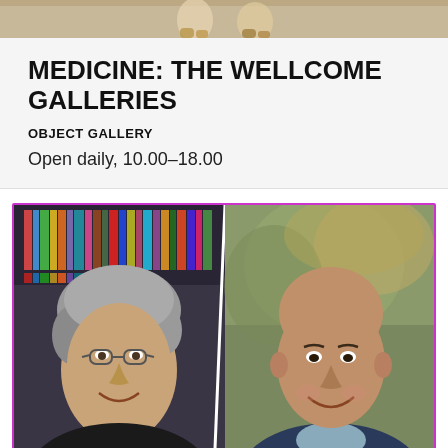[Figure (photo): Top strip showing partial image, likely feet or shoes on a light background]
MEDICINE: THE WELLCOME GALLERIES
OBJECT GALLERY
Open daily, 10.00–18.00
[Figure (photo): Two men smiling, shown side by side in a composite photo. Left man has grey curly hair and glasses, standing in front of a bookshelf. Right man is bald and smiling, photographed outdoors with a blurred autumn background. Image is framed with a purple/magenta border.]